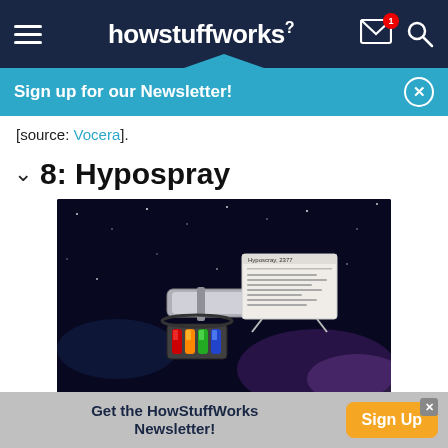howstuffworks
Sign up for our Newsletter!
[source: Vocera].
8: Hypospray
[Figure (photo): A Star Trek medical kit / hypospray prop on display against a starry dark blue space background, accompanied by a placard label. The prop includes a cylindrical metallic device with colorful vials.]
No Star Trek medical kit, like this one on display at "Star Trek: The
Get the HowStuffWorks Newsletter! Sign Up